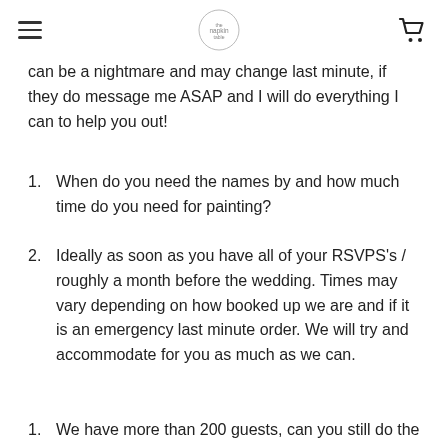[hamburger menu] [logo] [cart icon]
can be a nightmare and may change last minute, if they do message me ASAP and I will do everything I can to help you out!
1. When do you need the names by and how much time do you need for painting?
2. Ideally as soon as you have all of your RSVPS's / roughly a month before the wedding. Times may vary depending on how booked up we are and if it is an emergency last minute order. We will try and accommodate for you as much as we can.
1. We have more than 200 guests, can you still do the seating plan?